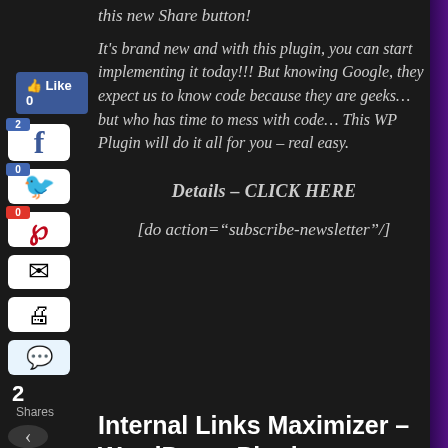this new Share button!
It's brand new and with this plugin, you can start implementing it today!!! But knowing Google, they expect us to know code because they are geeks… but who has time to mess with code… This WP Plugin will do it all for you – real easy.
Details – CLICK HERE
[do action="subscribe-newsletter"/]
Internal Links Maximizer – WordPress Plugin
Internal Links Maximizer – See How to Automatically Increase the Relevance and Quality Of Your Sites…